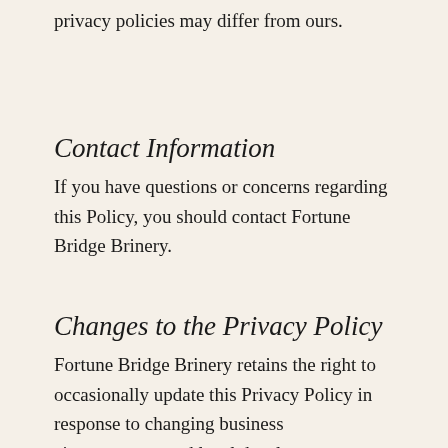privacy policies may differ from ours.
Contact Information
If you have questions or concerns regarding this Policy, you should contact Fortune Bridge Brinery.
Changes to the Privacy Policy
Fortune Bridge Brinery retains the right to occasionally update this Privacy Policy in response to changing business circumstances and legal developments.